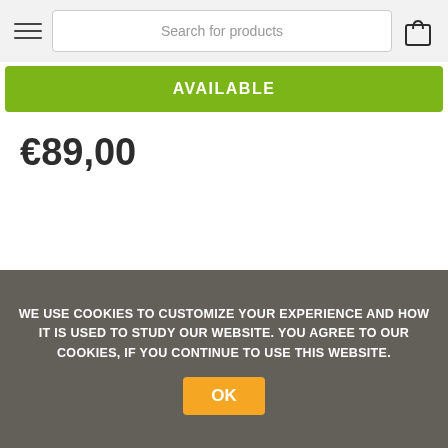Search for products
AVAILABLE
€89,00
Add to Cart
WE USE COOKIES TO CUSTOMIZE YOUR EXPERIENCE AND HOW IT IS USED TO STUDY OUR WEBSITE. YOU AGREE TO OUR COOKIES, IF YOU CONTINUE TO USE THIS WEBSITE.
OK